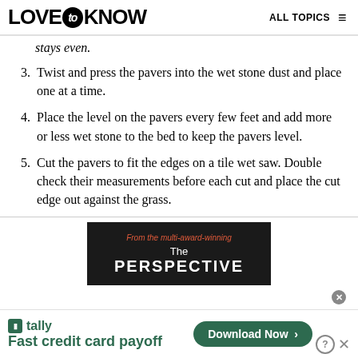LOVE to KNOW  ALL TOPICS
stays even.
3. Twist and press the pavers into the wet stone dust and place one at a time.
4. Place the level on the pavers every few feet and add more or less wet stone to the bed to keep the pavers level.
5. Cut the pavers to fit the edges on a tile wet saw. Double check their measurements before each cut and place the cut edge out against the grass.
[Figure (other): Advertisement: From the multi-award-winning The PERSPECTIVE]
[Figure (other): Bottom banner ad: Tally - Fast credit card payoff - Download Now button]